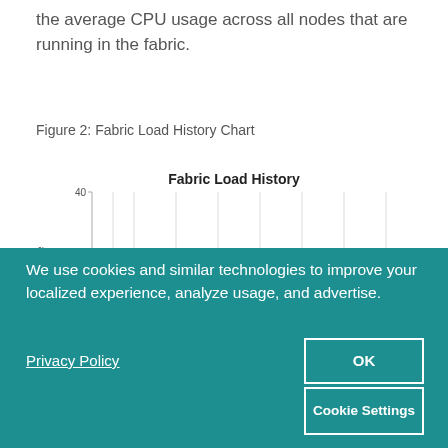the average CPU usage across all nodes that are running in the fabric.
Figure 2: Fabric Load History Chart
[Figure (line-chart): Fabric Load History]
We use cookies and similar technologies to improve your localized experience, analyze usage, and advertise.
Privacy Policy
OK
Cookie Settings